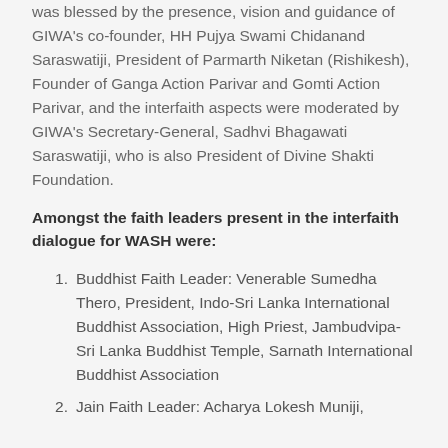was blessed by the presence, vision and guidance of GIWA's co-founder, HH Pujya Swami Chidanand Saraswatiji, President of Parmarth Niketan (Rishikesh), Founder of Ganga Action Parivar and Gomti Action Parivar, and the interfaith aspects were moderated by GIWA's Secretary-General, Sadhvi Bhagawati Saraswatiji, who is also President of Divine Shakti Foundation.
Amongst the faith leaders present in the interfaith dialogue for WASH were:
Buddhist Faith Leader: Venerable Sumedha Thero, President, Indo-Sri Lanka International Buddhist Association, High Priest, Jambudvipa-Sri Lanka Buddhist Temple, Sarnath International Buddhist Association
Jain Faith Leader: Acharya Lokesh Muniji,